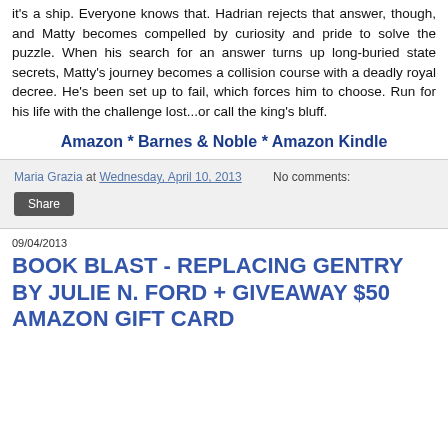it's a ship. Everyone knows that. Hadrian rejects that answer, though, and Matty becomes compelled by curiosity and pride to solve the puzzle. When his search for an answer turns up long-buried state secrets, Matty's journey becomes a collision course with a deadly royal decree. He's been set up to fail, which forces him to choose. Run for his life with the challenge lost...or call the king's bluff.
Amazon * Barnes & Noble * Amazon Kindle
Maria Grazia at Wednesday, April 10, 2013    No comments:
Share
09/04/2013
BOOK BLAST - REPLACING GENTRY BY JULIE N. FORD + GIVEAWAY $50 AMAZON GIFT CARD